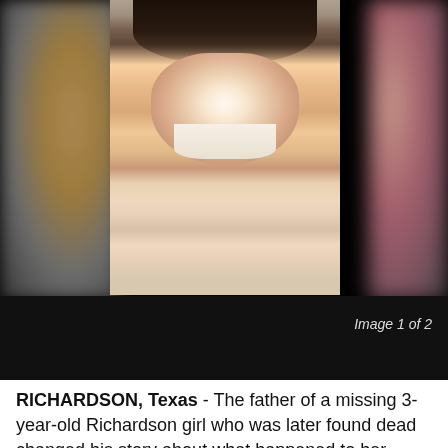[Figure (photo): Photo of a smiling young child (approximately 3 years old) with short dark hair, set against a blurred background. Black bar with image counter below the photo.]
Image 1 of 2
RICHARDSON, Texas - The father of a missing 3-year-old Richardson girl who was later found dead changed his story about what happened to her.
Wesley Mathews was taken into custody on Monday